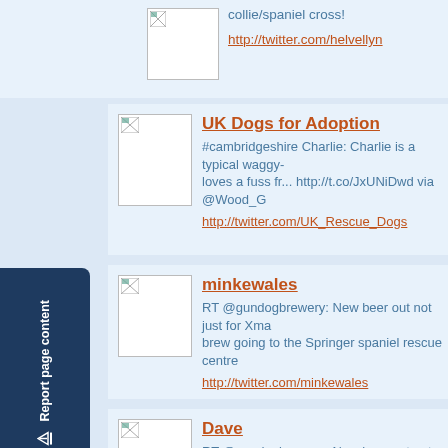collie/spaniel cross!
http://twitter.com/helvellyn
UK Dogs for Adoption
#cambridgeshire Charlie: Charlie is a typical waggy-loves a fuss fr... http://t.co/JxUNiDwd via @Wood_G
http://twitter.com/UK_Rescue_Dogs
minkewales
RT @gundogbrewery: New beer out not just for Xma brew going to the Springer spaniel rescue centre
http://twitter.com/minkewales
Dave
RT @gundogbrewery: New beer out not just for Xma brew going to the Springer spaniel rescue centre
http://twitter.com/TheDaveToEndAll
TYN CAMRA
RT @gundogbrewery: New beer out not just for Xma brew going to the Springer spaniel rescue centre